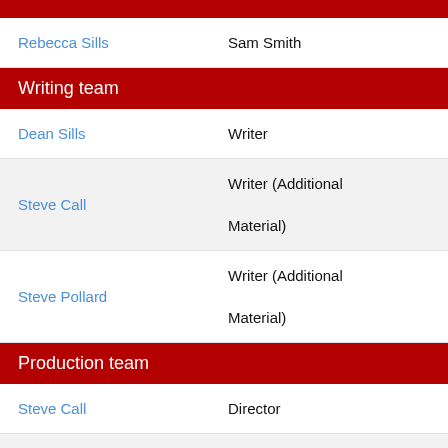| Name | Role |
| --- | --- |
| Rebecca Sills | Sam Smith |
| Writing team |  |
| Dean Sills | Writer |
| Steve Call | Writer (Additional Material) |
| Steve Pollard | Writer (Additional Material) |
| Production team |  |
| Steve Call | Director |